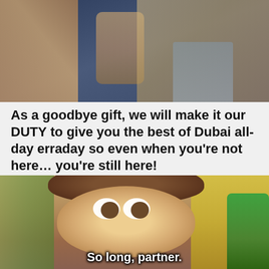[Figure (photo): Top photo showing people walking, partial view of figures in outdoor/street setting]
As a goodbye gift, we will make it our DUTY to give you the best of Dubai all-day erraday so even when you’re not here… you’re still here!
[Figure (photo): Woody from Toy Story animated film looking at camera with subtitle 'So long, partner.']
So long, partner.